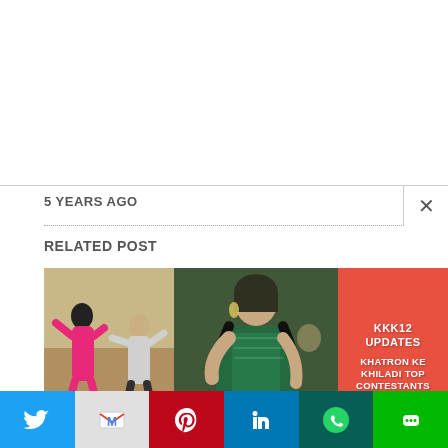5 YEARS AGO
RELATED POST
[Figure (photo): Three panel image: left panel shows two people dancing, one in a pink jumpsuit and one in a gray outfit; middle panel shows a woman in a green sequined dress; right panel is a red promotional graphic with text 'KKK12 UPDATES KHATRON KE KHILADI TOP CONTESTANTS' with a scroll-up button]
Social share bar: Twitter, Gmail, Pinterest, LinkedIn, WhatsApp, Line